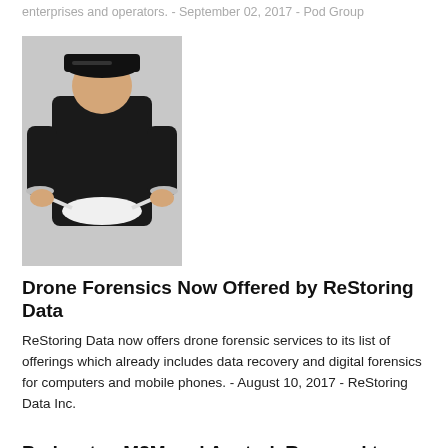enterprises and operators. - September 02, 2017 - Pod Group
[Figure (photo): Person in black clothing and cap examining or working on a white drone]
Drone Forensics Now Offered by ReStoring Data
ReStoring Data now offers drone forensic services to its list of offerings which already includes data recovery and digital forensics for computers and mobile phones. - August 10, 2017 - ReStoring Data Inc.
PodsystemM2M and Anytrek Respond to Growing Trend in "Strategic" Cargo Theft Through Covert Tracking Device
Cybercriminals are not limited to hackers on the web. Businesses lose